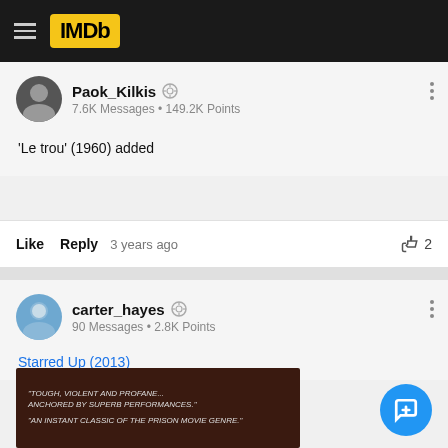IMDb
Paok_Kilkis
7.6K Messages • 149.2K Points
'Le trou' (1960) added
Like  Reply  3 years ago  👍 2
carter_hayes
90 Messages • 2.8K Points
Starred Up (2013)
[Figure (photo): Movie poster for Starred Up (2013) showing dark background with quotes: 'TOUGH, VIOLENT AND PROFANE... ANCHORED BY SUPERB PERFORMANCES.' and 'AN INSTANT CLASSIC OF THE PRISON MOVIE GENRE.']